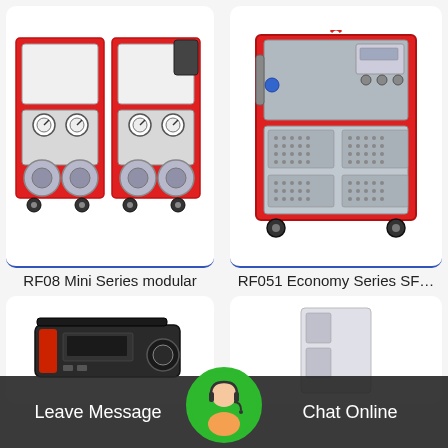[Figure (photo): RF08 Mini Series modular industrial hydraulic/SF6 gas handling equipment on red frame with wheels, gauges and pumps]
RF08 Mini Series modular
[Figure (photo): RF051 Economy Series SF6 gas handling machine in red frame cabinet with ventilation grilles and control panel]
RF051 Economy Series SF...
[Figure (photo): Small black electronic device/controller unit in bottom-left card]
[Figure (photo): Partial view of industrial equipment in bottom-right card]
Leave Message
Chat Online